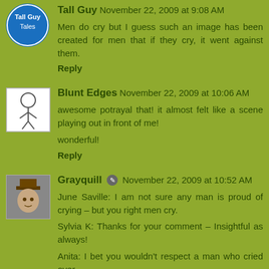Tall Guy November 22, 2009 at 9:08 AM
Men do cry but I guess such an image has been created for men that if they cry, it went against them.
Reply
Blunt Edges November 22, 2009 at 10:06 AM
awesome potrayal that! it almost felt like a scene playing out in front of me!
wonderful!
Reply
Grayquill November 22, 2009 at 10:52 AM
June Saville: I am not sure any man is proud of crying – but you right men cry.
Sylvia K: Thanks for your comment – Insightful as always!
Anita: I bet you wouldn't respect a man who cried over